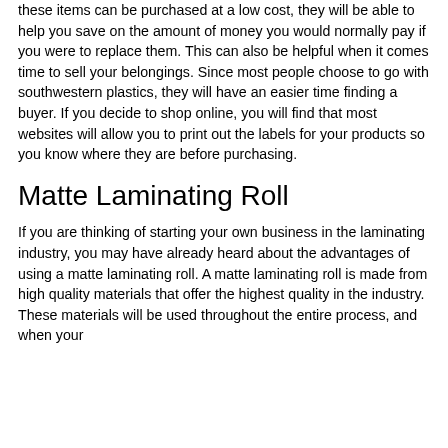these items can be purchased at a low cost, they will be able to help you save on the amount of money you would normally pay if you were to replace them. This can also be helpful when it comes time to sell your belongings. Since most people choose to go with southwestern plastics, they will have an easier time finding a buyer. If you decide to shop online, you will find that most websites will allow you to print out the labels for your products so you know where they are before purchasing.
Matte Laminating Roll
If you are thinking of starting your own business in the laminating industry, you may have already heard about the advantages of using a matte laminating roll. A matte laminating roll is made from high quality materials that offer the highest quality in the industry. These materials will be used throughout the entire process, and when your